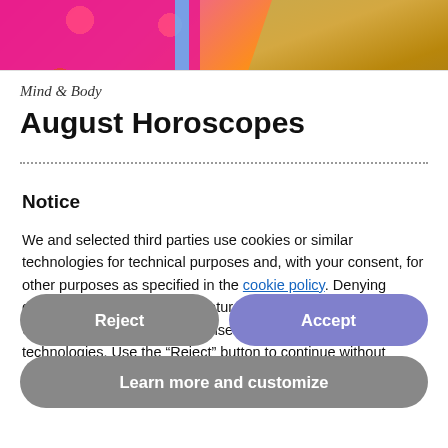[Figure (photo): Top banner image showing colorful flowers (pink and red) on the left, a blue vertical bar in the center-left, and a golden statue figure on the right, with red poppy flowers at the bottom center.]
Mind & Body
August Horoscopes
Notice
We and selected third parties use cookies or similar technologies for technical purposes and, with your consent, for other purposes as specified in the cookie policy. Denying consent may make related features unavailable.
Use the “Accept” button to consent to the use of such technologies. Use the “Reject” button to continue without accepting.
Reject
Accept
Learn more and customize